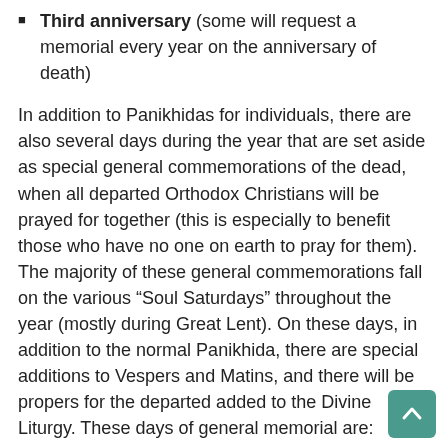Third anniversary (some will request a memorial every year on the anniversary of death)
In addition to Panikhidas for individuals, there are also several days during the year that are set aside as special general commemorations of the dead, when all departed Orthodox Christians will be prayed for together (this is especially to benefit those who have no one on earth to pray for them). The majority of these general commemorations fall on the various “Soul Saturdays” throughout the year (mostly during Great Lent). On these days, in addition to the normal Panikhida, there are special additions to Vespers and Matins, and there will be propers for the departed added to the Divine Liturgy. These days of general memorial are:
Meatfare Saturday (two Saturdays before Great Lent begins)—in some traditions families and